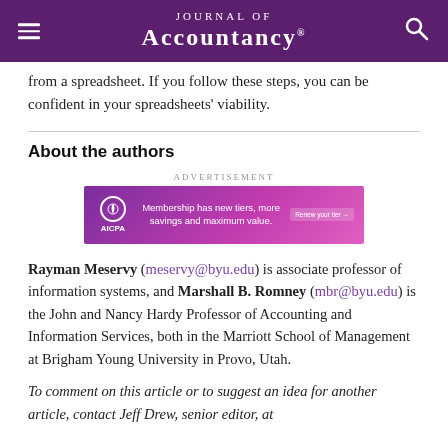Journal of Accountancy
from a spreadsheet. If you follow these steps, you can be confident in your spreadsheets' viability.
About the authors
[Figure (other): AICPA advertisement banner: Membership has new tiers, more savings and maximum value. Renew your tier button.]
Rayman Meservy (meservy@byu.edu) is associate professor of information systems, and Marshall B. Romney (mbr@byu.edu) is the John and Nancy Hardy Professor of Accounting and Information Services, both in the Marriott School of Management at Brigham Young University in Provo, Utah.
To comment on this article or to suggest an idea for another article, contact Jeff Drew, senior editor, at